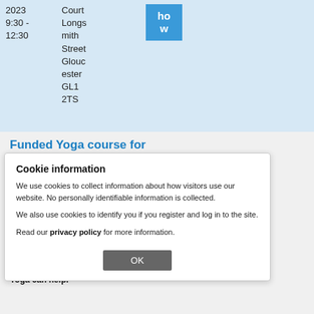| Date | Location | Action |
| --- | --- | --- |
| 2023 9:30 - 12:30 | Court Longsmith Street Gloucester GL1 2TS | how w |
Funded Yoga course for Gloucestershire School Staff
Active Gloucestershire are working with Shift Yoga to offer 50 teacher's and TA's from primary, secondary and special schools in Gloucestershire the opportunity to complete a funded yoga course so they can use their new found knowledge to improve their own health.
The mental health and well-being of children and young people is so important, but it's also important that your teachers, have good mental health.
Yoga can help.
Cookie information
We use cookies to collect information about how visitors use our website. No personally identifiable information is collected.
We also use cookies to identify you if you register and log in to the site.
Read our privacy policy for more information.